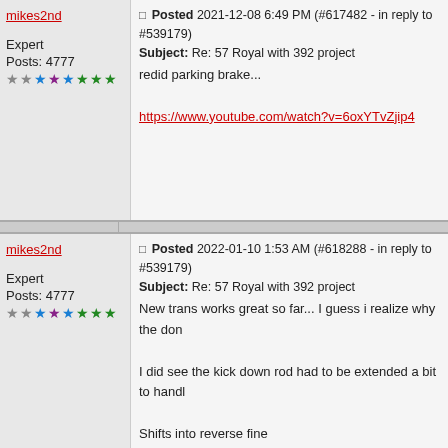mikes2nd
Posted 2021-12-08 6:49 PM (#617482 - in reply to #539179)
Subject: Re: 57 Royal with 392 project
Expert
Posts: 4777
redid parking brake...
https://www.youtube.com/watch?v=6oxYTvZjip4
mikes2nd
Posted 2022-01-10 1:53 AM (#618288 - in reply to #539179)
Subject: Re: 57 Royal with 392 project
Expert
Posts: 4777
New trans works great so far... I guess i realize why the don
I did see the kick down rod had to be extended a bit to handl
Shifts into reverse fine
can come back off the jackstands as everything underneath
[Figure (photo): Photo of undercarriage/suspension area, teal/grey tones with diagonal lines visible]